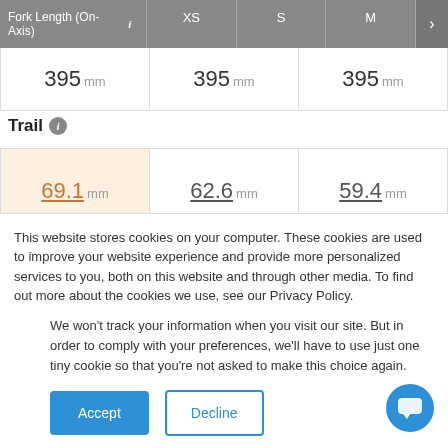| Fork Length (On-Axis) | XS | S | M |
| --- | --- | --- | --- |
|  | 395 mm | 395 mm | 395 mm |
Trail
| XS | S | M |
| --- | --- | --- |
| 69.1 mm | 62.6 mm | 59.4 mm |
| high | mid/neutral | mid/neutral |
This website stores cookies on your computer. These cookies are used to improve your website experience and provide more personalized services to you, both on this website and through other media. To find out more about the cookies we use, see our Privacy Policy.
We won't track your information when you visit our site. But in order to comply with your preferences, we'll have to use just one tiny cookie so that you're not asked to make this choice again.